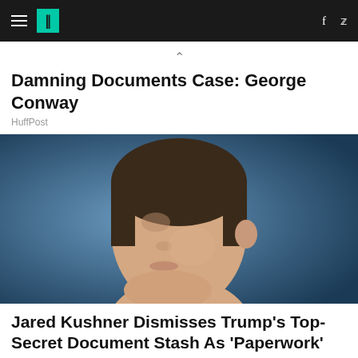HuffPost navigation
Damning Documents Case: George Conway
HuffPost
[Figure (photo): Close-up photo of Jared Kushner's face in profile, blue background]
Jared Kushner Dismisses Trump's Top-Secret Document Stash As 'Paperwork' Issue
HuffPost